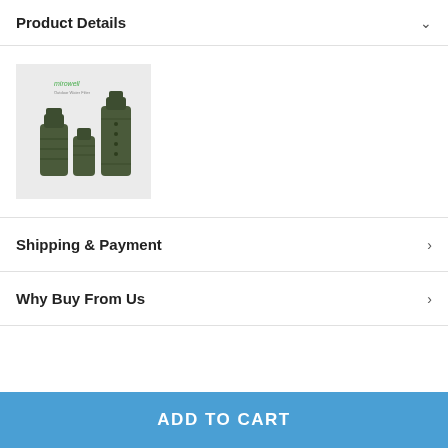Product Details
[Figure (photo): Three olive/dark green cylindrical water filter components (mirowell brand) on a light grey background]
Shipping & Payment
Why Buy From Us
ADD TO CART